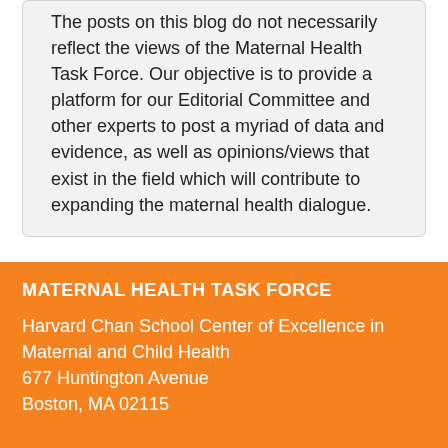The posts on this blog do not necessarily reflect the views of the Maternal Health Task Force. Our objective is to provide a platform for our Editorial Committee and other experts to post a myriad of data and evidence, as well as opinions/views that exist in the field which will contribute to expanding the maternal health dialogue.
MATERNAL HEALTH TASK FORCE
Harvard Chan School Center of Excellence in Maternal and Child Health
677 Huntington Avenue
Boston, MA 02115